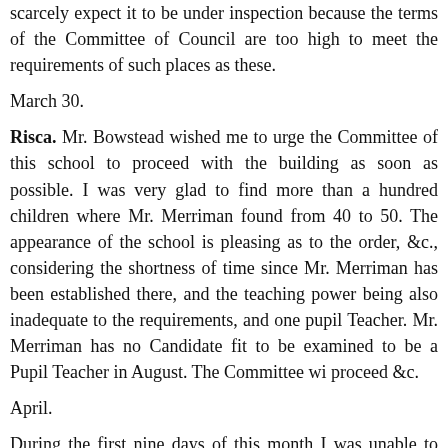scarcely expect it to be under inspection because the terms of the Committee of Council are too high to meet the requirements of such places as these.
March 30.
Risca. Mr. Bowstead wished me to urge the Committee of this school to proceed with the building as soon as possible. I was very glad to find more than a hundred children where Mr. Merriman found from 40 to 50. The appearance of the school is pleasing as to the order, &c., considering the shortness of time since Mr. Merriman has been established there, and the teaching power being also inadequate to the requirements, and one pupil Teacher. Mr. Merriman has no Candidate fit to be examined to be a Pupil Teacher in August. The Committee will proceed &c.
April.
During the first nine days of this month I was unable to attend to my duties in consequence of a severe cold I had.
April 10 & 11.
Writing my Journal for March and other letters on educational matters.